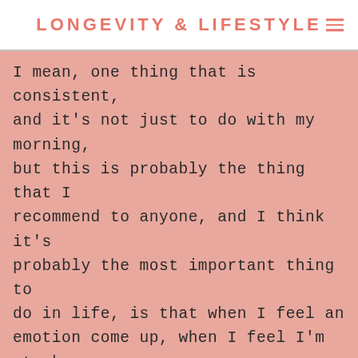LONGEVITY & LIFESTYLE
I mean, one thing that is consistent, and it's not just to do with my morning, but this is probably the thing that I recommend to anyone, and I think it's probably the most important thing to do in life, is that when I feel an emotion come up, when I feel I'm stuck with a mood or an emotion that's not optimal, then I address it then and there, or as soon as I can. So if having done all of that in my morning, I feel like for some reason I'm just not in a great mood, then I'll go to the room